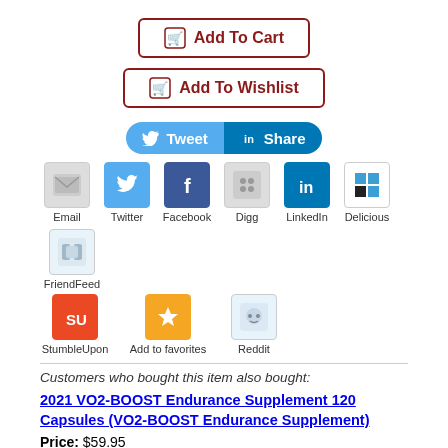[Figure (screenshot): Add To Cart button with dark red border and cart icon]
[Figure (screenshot): Add To Wishlist button with dark red border and wishlist cart icon]
[Figure (screenshot): Tweet and Share social buttons row]
[Figure (screenshot): Social sharing icons row 1: Email, Twitter, Facebook, Digg, LinkedIn, Delicious, FriendFeed]
[Figure (screenshot): Social sharing icons row 2: StumbleUpon, Add to favorites, Reddit]
Customers who bought this item also bought:
2021 VO2-BOOST Endurance Supplement 120 Capsules (VO2-BOOST Endurance Supplement)
Price: $59.95
VO2-BOOST is a powerful endurance enhancer clinically